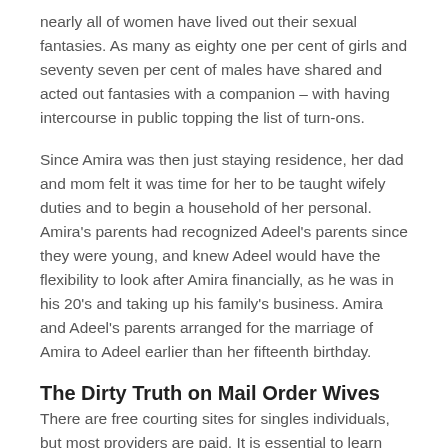nearly all of women have lived out their sexual fantasies. As many as eighty one per cent of girls and seventy seven per cent of males have shared and acted out fantasies with a companion – with having intercourse in public topping the list of turn-ons.
Since Amira was then just staying residence, her dad and mom felt it was time for her to be taught wifely duties and to begin a household of her personal. Amira's parents had recognized Adeel's parents since they were young, and knew Adeel would have the flexibility to look after Amira financially, as he was in his 20's and taking up his family's business. Amira and Adeel's parents arranged for the marriage of Amira to Adeel earlier than her fifteenth birthday.
The Dirty Truth on Mail Order Wives
There are free courting sites for singles individuals, but most providers are paid. It is essential to learn how much do mail order bride value and the way payment